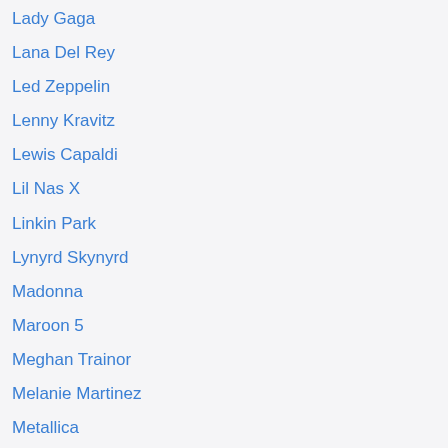Lady Gaga
Lana Del Rey
Led Zeppelin
Lenny Kravitz
Lewis Capaldi
Lil Nas X
Linkin Park
Lynyrd Skynyrd
Madonna
Maroon 5
Meghan Trainor
Melanie Martinez
Metallica
Michael Jackson
MIKA